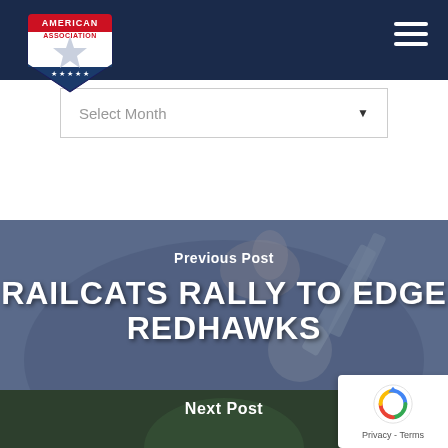[Figure (logo): American Association baseball league logo - red/white/blue shield with star]
[Figure (other): Hamburger menu icon (three horizontal white lines) in top right of navy header]
Select Month
Previous Post
RAILCATS RALLY TO EDGE REDHAWKS
[Figure (photo): Gary Southshore RailCats logo overlaid on dark blue/grey background]
Next Post
[Figure (photo): reCAPTCHA widget with circular arrow logo and Privacy - Terms text]